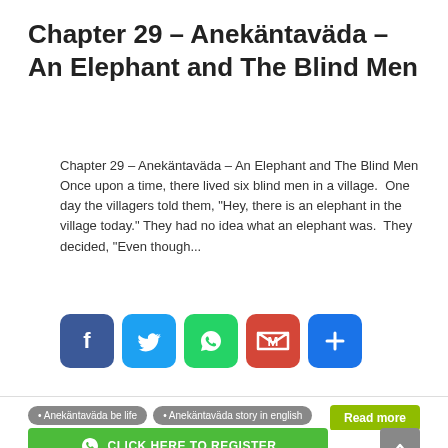Chapter 29 – Anekäntaväda – An Elephant and The Blind Men
Chapter 29 – Anekäntaväda – An Elephant and The Blind Men Once upon a time, there lived six blind men in a village.  One day the villagers told them, "Hey, there is an elephant in the village today." They had no idea what an elephant was.  They decided, "Even though...
[Figure (infographic): Social share buttons: Facebook (blue), Twitter (blue), WhatsApp (green), Gmail (red), More/Plus (blue)]
• Anekäntaväda be life   • Anekäntaväda story in english
Read more
[Figure (illustration): Line drawing illustration of a figure with a camera or filming equipment, partially visible at the bottom of the page. A green 'CLICK HERE TO REGISTER' banner with WhatsApp icon overlays the illustration. A grey back-to-top button is on the right.]